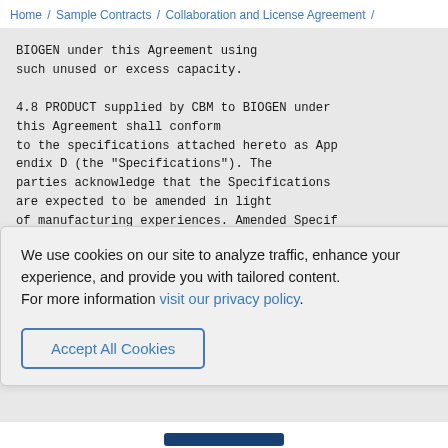Home / Sample Contracts / Collaboration and License Agreement /
BIOGEN under this Agreement using such unused or excess capacity.

4.8 PRODUCT supplied by CBM to BIOGEN under this Agreement shall conform to the specifications attached hereto as Appendix D (the "Specifications"). The parties acknowledge that the Specifications are expected to be amended in light of manufacturing experiences. Amended Specifications shall be attached to this
We use cookies on our site to analyze traffic, enhance your experience, and provide you with tailored content.
For more information visit our privacy policy.
Accept All Cookies